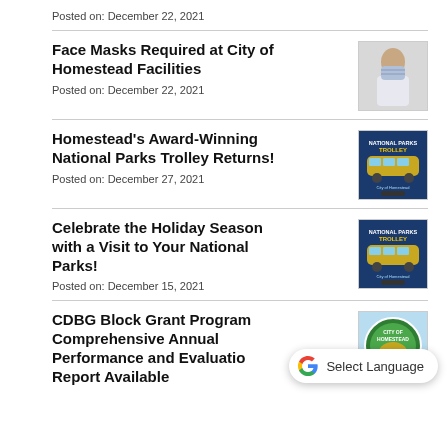Posted on: December 22, 2021
Face Masks Required at City of Homestead Facilities
Posted on: December 22, 2021
[Figure (photo): Woman wearing a face mask]
Homestead's Award-Winning National Parks Trolley Returns!
Posted on: December 27, 2021
[Figure (photo): National Parks Trolley flyer/poster]
Celebrate the Holiday Season with a Visit to Your National Parks!
Posted on: December 15, 2021
[Figure (photo): National Parks Trolley flyer/poster]
CDBG Block Grant Program Comprehensive Annual Performance and Evaluation Report Available
[Figure (logo): City of Homestead seal/logo]